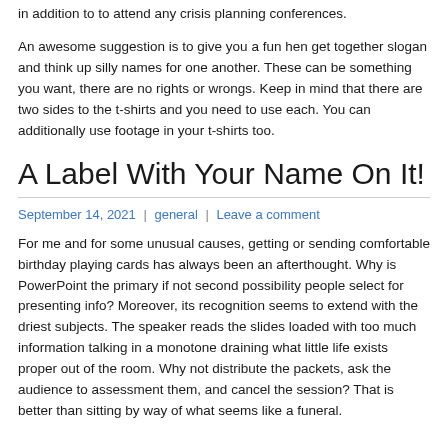in addition to to attend any crisis planning conferences.
An awesome suggestion is to give you a fun hen get together slogan and think up silly names for one another. These can be something you want, there are no rights or wrongs. Keep in mind that there are two sides to the t-shirts and you need to use each. You can additionally use footage in your t-shirts too.
A Label With Your Name On It!
September 14, 2021 | general | Leave a comment
For me and for some unusual causes, getting or sending comfortable birthday playing cards has always been an afterthought. Why is PowerPoint the primary if not second possibility people select for presenting info? Moreover, its recognition seems to extend with the driest subjects. The speaker reads the slides loaded with too much information talking in a monotone draining what little life exists proper out of the room. Why not distribute the packets, ask the audience to assessment them, and cancel the session? That is better than sitting by way of what seems like a funeral.